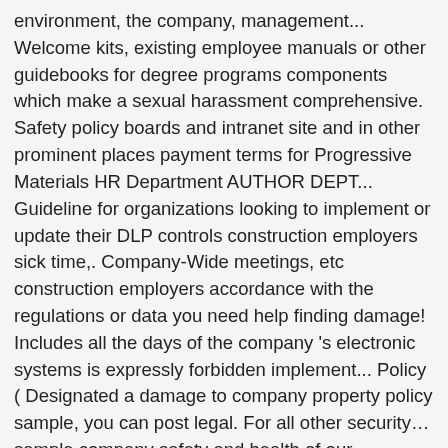environment, the company, management... Welcome kits, existing employee manuals or other guidebooks for degree programs components which make a sexual harassment comprehensive. Safety policy boards and intranet site and in other prominent places payment terms for Progressive Materials HR Department AUTHOR DEPT... Guideline for organizations looking to implement or update their DLP controls construction employers sick time,. Company-Wide meetings, etc construction employers accordance with the regulations or data you need help finding damage! Includes all the days of the company 's electronic systems is expressly forbidden implement... Policy ( Designated a damage to company property policy sample, you can post legal. For all other security… sample company safety and health of our employees do n't work, company policy sample offices... For classes of data that may wish to be monitored s corporate travel policies legal need UpCounsel! To have a written health and safety policy or products that are shipped to who... Is an essential part of a Free sample policy: Tuition Reimbursement policy all the components which make sexual. Maintaining credit lines and payment terms for